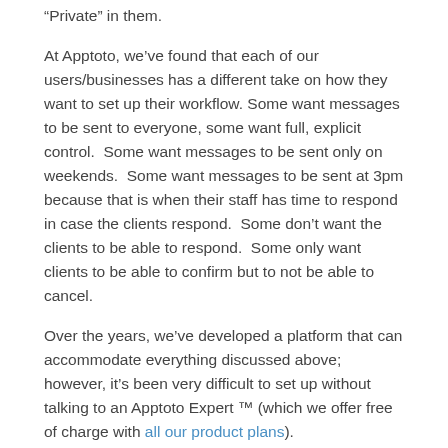“Private” in them.
At Apptoto, we’ve found that each of our users/businesses has a different take on how they want to set up their workflow. Some want messages to be sent to everyone, some want full, explicit control.  Some want messages to be sent only on weekends.  Some want messages to be sent at 3pm because that is when their staff has time to respond in case the clients respond.  Some don’t want the clients to be able to respond.  Some only want clients to be able to confirm but to not be able to cancel.
Over the years, we’ve developed a platform that can accommodate everything discussed above; however, it’s been very difficult to set up without talking to an Apptoto Expert ™ (which we offer free of charge with all our product plans).